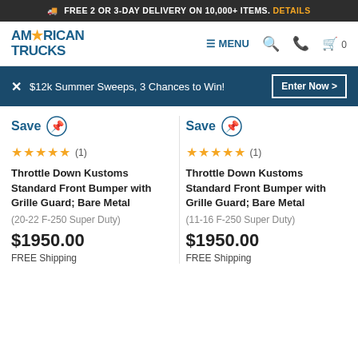FREE 2 OR 3-DAY DELIVERY ON 10,000+ ITEMS. DETAILS
[Figure (logo): American Trucks logo with navigation icons: MENU, search, phone, cart (0)]
$12k Summer Sweeps, 3 Chances to Win! Enter Now >
Save (pin icon)
★★★★★ (1)
Throttle Down Kustoms Standard Front Bumper with Grille Guard; Bare Metal
(20-22 F-250 Super Duty)
$1950.00
FREE Shipping
Save (pin icon)
★★★★★ (1)
Throttle Down Kustoms Standard Front Bumper with Grille Guard; Bare Metal
(11-16 F-250 Super Duty)
$1950.00
FREE Shipping